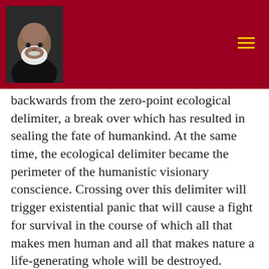[Figure (photo): Portrait photo of a bald man with a white beard, shown in a dark header bar on a dark red/crimson background with a hamburger menu icon in yellow on the right.]
backwards from the zero-point ecological delimiter, a break over which has resulted in sealing the fate of humankind. At the same time, the ecological delimiter became the perimeter of the humanistic visionary conscience. Crossing over this delimiter will trigger existential panic that will cause a fight for survival in the course of which all that makes men human and all that makes nature a life-generating whole will be destroyed.
Capitalism is neither a conservative nor a regressive order. It does not attempt to